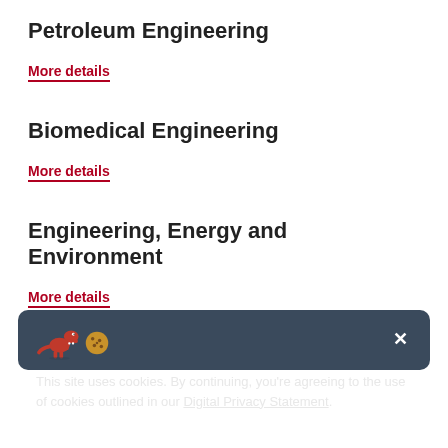Petroleum Engineering
More details
Biomedical Engineering
More details
Engineering, Energy and Environment
More details
Environmental Engineering
This site uses cookies. By continuing, you're agreeing to the use of cookies outlined in our Digital Privacy Statement.
More details